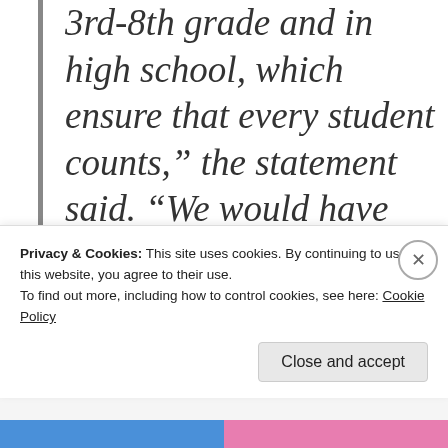3rd-8th grade and in high school, which ensure that every student counts,” the statement said. “We would have liked to see stronger requirements for timely intervention in schools where students are struggling, but
Privacy & Cookies: This site uses cookies. By continuing to use this website, you agree to their use.
To find out more, including how to control cookies, see here: Cookie Policy